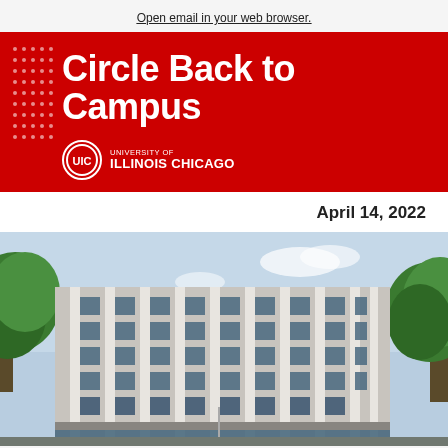Open email in your web browser.
Circle Back to Campus
[Figure (logo): UIC University of Illinois Chicago logo in white on red background]
April 14, 2022
[Figure (photo): Exterior photo of a modern multi-story university building with white vertical fins and glass windows, flanked by green trees, photographed from below against a partly cloudy sky — UIC campus building.]